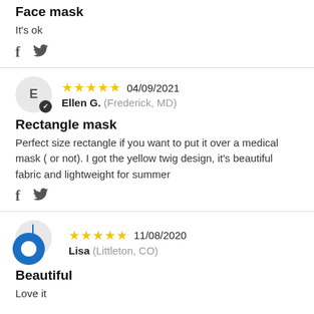Face mask
It's ok
f  🐦 (social share icons)
Rectangle mask
Ellen G. (Frederick, MD) — ★★★★★ 04/09/2021
Perfect size rectangle if you want to put it over a medical mask ( or not). I got the yellow twig design, it's beautiful fabric and lightweight for summer
Lisa (Littleton, CO) — ★★★★★ 11/08/2020
Beautiful
Love it